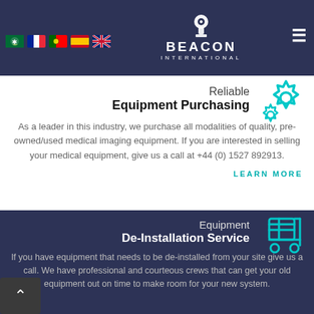[Figure (logo): Beacon International logo with navigation flags and hamburger menu in dark navy header bar]
Reliable Equipment Purchasing
As a leader in this industry, we purchase all modalities of quality, pre-owned/used medical imaging equipment. If you are interested in selling your medical equipment, give us a call at +44 (0) 1527 892913.
LEARN MORE
Equipment De-Installation Service
If you have equipment that needs to be de-installed from your site give us a call. We have professional and courteous crews that can get your old equipment out on time to make room for your new system.